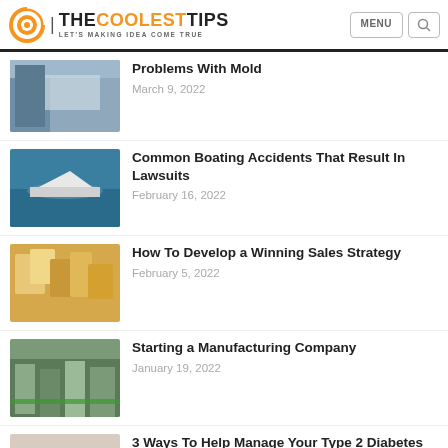THECOOLESTTIPS | LET'S MAKING IDEA COME TRUE
Problems With Mold
Common Boating Accidents That Result In Lawsuits
How To Develop a Winning Sales Strategy
Starting a Manufacturing Company
3 Ways To Help Manage Your Type 2 Diabetes
How To Improve Your Horseback Riding